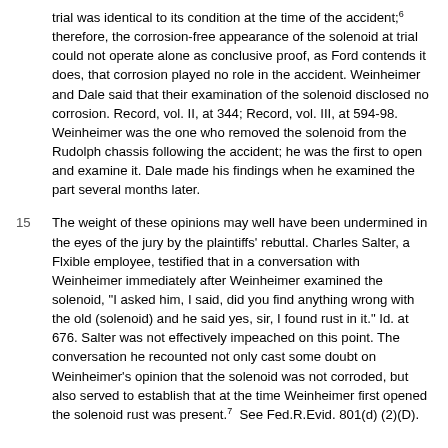trial was identical to its condition at the time of the accident;6 therefore, the corrosion-free appearance of the solenoid at trial could not operate alone as conclusive proof, as Ford contends it does, that corrosion played no role in the accident. Weinheimer and Dale said that their examination of the solenoid disclosed no corrosion. Record, vol. II, at 344; Record, vol. III, at 594-98. Weinheimer was the one who removed the solenoid from the Rudolph chassis following the accident; he was the first to open and examine it. Dale made his findings when he examined the part several months later.
15 The weight of these opinions may well have been undermined in the eyes of the jury by the plaintiffs' rebuttal. Charles Salter, a Flxible employee, testified that in a conversation with Weinheimer immediately after Weinheimer examined the solenoid, "I asked him, I said, did you find anything wrong with the old (solenoid) and he said yes, sir, I found rust in it." Id. at 676. Salter was not effectively impeached on this point. The conversation he recounted not only cast some doubt on Weinheimer's opinion that the solenoid was not corroded, but also served to establish that at the time Weinheimer first opened the solenoid rust was present.7 See Fed.R.Evid. 801(d)(2)(D).